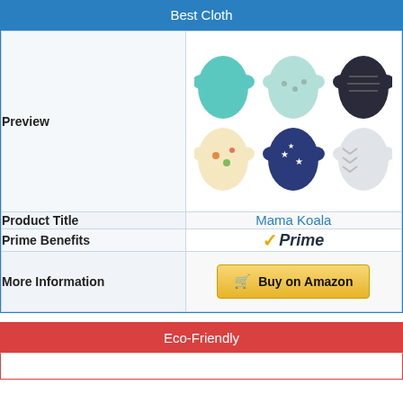Best Cloth
|  |  |
| --- | --- |
| Preview | [cloth diaper images] |
| Product Title | Mama Koala |
| Prime Benefits | Prime |
| More Information | Buy on Amazon |
Eco-Friendly